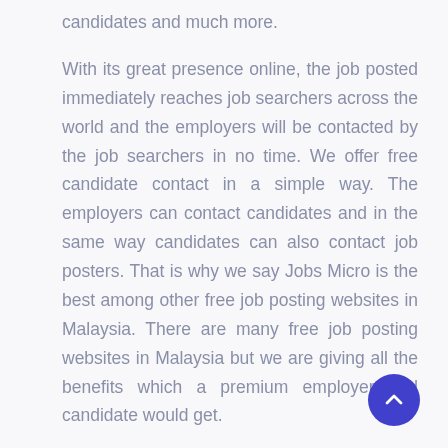candidates and much more.
With its great presence online, the job posted immediately reaches job searchers across the world and the employers will be contacted by the job searchers in no time. We offer free candidate contact in a simple way. The employers can contact candidates and in the same way candidates can also contact job posters. That is why we say Jobs Micro is the best among other free job posting websites in Malaysia. There are many free job posting websites in Malaysia but we are giving all the benefits which a premium employer and candidate would get.
[Figure (other): A circular scroll-to-top button with dark blue/indigo background and a white upward chevron arrow icon, positioned in the bottom-right corner.]